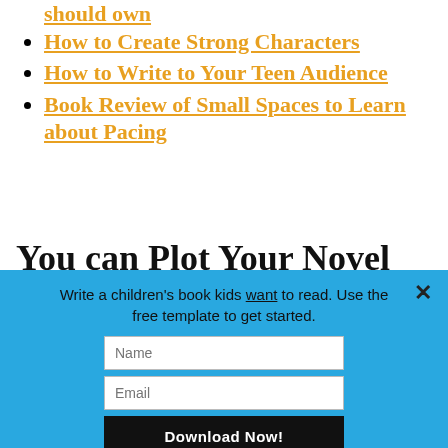should own
How to Create Strong Characters
How to Write to Your Teen Audience
Book Review of Small Spaces to Learn about Pacing
You can Plot Your Novel like
Write a children's book kids want to read. Use the free template to get started.
Name
Email
Download Now!